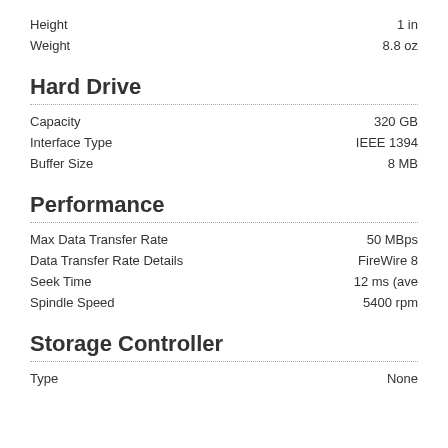Height: 1 in
Weight: 8.8 oz
Hard Drive
Capacity: 320 GB
Interface Type: IEEE 1394
Buffer Size: 8 MB
Performance
Max Data Transfer Rate: 50 MBps
Data Transfer Rate Details: FireWire 8
Seek Time: 12 ms (ave
Spindle Speed: 5400 rpm
Storage Controller
Type: None